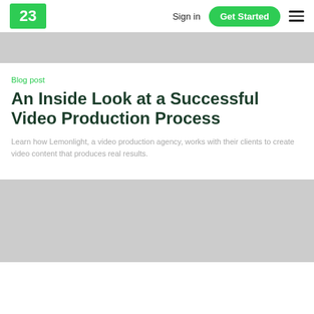23 | Sign in | Get Started
[Figure (photo): Top banner image placeholder (gray)]
Blog post
An Inside Look at a Successful Video Production Process
Learn how Lemonlight, a video production agency, works with their clients to create video content that produces real results.
[Figure (photo): Bottom banner image placeholder (gray)]